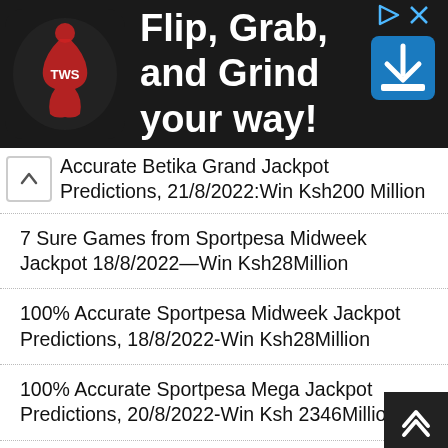[Figure (screenshot): Ad banner with dark background showing logo on left, text 'Flip, Grab, and Grind your way!' in white, and download icon on right]
Accurate Betika Grand Jackpot Predictions, 21/8/2022:Win Ksh200 Million
7 Sure Games from Sportpesa Midweek Jackpot 18/8/2022—Win Ksh28Million
100% Accurate Sportpesa Midweek Jackpot Predictions, 18/8/2022-Win Ksh28Million
100% Accurate Sportpesa Mega Jackpot Predictions, 20/8/2022-Win Ksh 2346Million
Sure Prediction For Today, Wednesday 17th August 2022
Accurate Free Betting Tips 17/8/2022-Make Ksh220k
10 GG Betting Tips Today 17/8/2022, Make Ksh280k